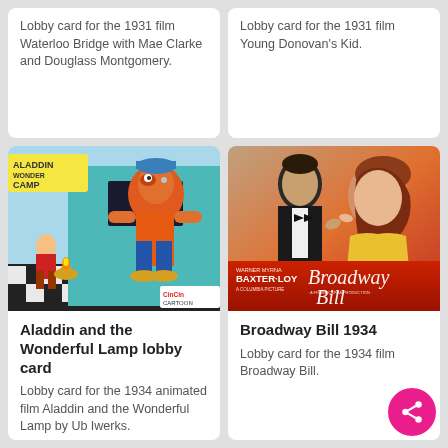Lobby card for the 1931 film Waterloo Bridge with Mae Clarke and Douglass Montgomery.
Lobby card for the 1931 film Young Donovan's Kid.
[Figure (illustration): Lobby card for the 1934 animated film Aladdin and the Wonderful Lamp by Ub Iwerks, showing cartoon characters at Aladdin Wonder Camp.]
[Figure (photo): Lobby card for the 1934 film Broadway Bill, a Frank Capra Production, featuring Warner Baxter and Myrna Loy from Columbia Pictures.]
Aladdin and the Wonderful Lamp lobby card
Lobby card for the 1934 animated film Aladdin and the Wonderful Lamp by Ub Iwerks.
Broadway Bill 1934
Lobby card for the 1934 film Broadway Bill.